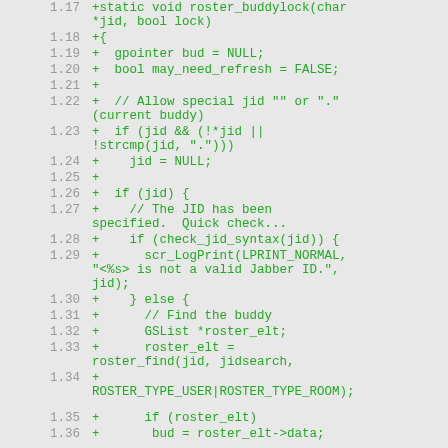Code diff showing roster_buddylock function implementation in C, lines 1.17 through 1.36